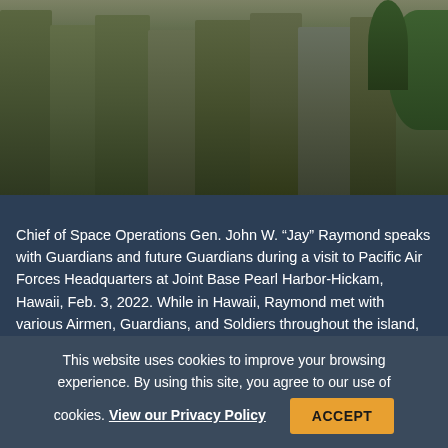[Figure (photo): Military personnel in camouflage uniforms standing together, photographed from the torso down, at Joint Base Pearl Harbor-Hickam, Hawaii.]
Chief of Space Operations Gen. John W. “Jay” Raymond speaks with Guardians and future Guardians during a visit to Pacific Air Forces Headquarters at Joint Base Pearl Harbor-Hickam, Hawaii, Feb. 3, 2022. While in Hawaii, Raymond met with various Airmen, Guardians, and Soldiers throughout the island, all who serve in support of the Space Force and its mission. Air Force photo by Tech. Sgt. Hailey Haux.
Space Force Needs ‘Bodies’
This website uses cookies to improve your browsing experience. By using this site, you agree to our use of cookies. View our Privacy Policy